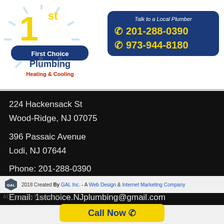[Figure (logo): First Choice Plumbing Heating & Cooling logo with '1st' in large yellow text and rays]
Talk to a Local Plumber
☎ 201-288-0390
☎ 973-944-8180
224 Hackensack St
Wood-Ridge, NJ 07075

396 Passaic Avenue
Lodi, NJ 07644

Phone: 201-288-0390
Fax: 201-288-0870
Email: 1stchoice.NJplumbing@gmail.com
[Figure (infographic): Social media icons: Facebook, Twitter, Blogger, Google+, YouTube, Pinterest]
2018 Created By GAL Inc. - A Web Design & Internet Marketing Company
AC Financing Hanover, NJ
Call Now ☎